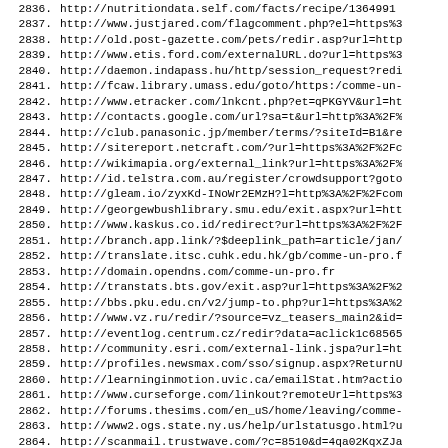2836.  http://nutritiondata.self.com/facts/recipe/1364991
2837.  http://www.justjared.com/flagcomment.php?el=https%3
2838.  http://old.post-gazette.com/pets/redir.asp?url=http
2839.  http://www.etis.ford.com/externalURL.do?url=https%3
2840.  http://daemon.indapass.hu/http/session_request?redi
2841.  http://fcaw.library.umass.edu/goto/https:/comme-un-
2842.  http://www.etracker.com/lnkcnt.php?et=qPKGYV&url=ht
2843.  http://contacts.google.com/url?sa=t&url=http%3A%2F%
2844.  http://club.panasonic.jp/member/terms/?siteId=B1&re
2845.  http://sitereport.netcraft.com/?url=https%3A%2F%2Fc
2846.  http://wikimapia.org/external_link?url=https%3A%2F%
2847.  http://id.telstra.com.au/register/crowdsupport?goto
2848.  http://gleam.io/zyxKd-INoWr2EMzH?l=http%3A%2F%2Fcom
2849.  http://georgewbushlibrary.smu.edu/exit.aspx?url=htt
2850.  http://www.kaskus.co.id/redirect?url=https%3A%2F%2F
2851.  http://branch.app.link/?$deeplink_path=article/jan/
2852.  http://translate.itsc.cuhk.edu.hk/gb/comme-un-pro.f
2853.  http://domain.opendns.com/comme-un-pro.fr
2854.  http://transtats.bts.gov/exit.asp?url=https%3A%2F%2
2855.  http://bbs.pku.edu.cn/v2/jump-to.php?url=https%3A%2
2856.  http://www.vz.ru/redir/?source=vz_teasers_main2&id=
2857.  http://eventlog.centrum.cz/redir?data=aclick1c68565
2858.  http://community.esri.com/external-link.jspa?url=ht
2859.  http://profiles.newsmax.com/sso/signup.aspx?ReturnU
2860.  http://learninginmotion.uvic.ca/emailStat.htm?actio
2861.  http://www.curseforge.com/linkout?remoteUrl=https%3
2862.  http://forums.thesims.com/en_uS/home/leaving/comme-
2863.  http://www2.ogs.state.ny.us/help/urlstatusgo.html?u
2864.  http://scanmail.trustwave.com/?c=8510&d=4qa02KqxZJa
2865.  http://tools.folha.com.br/print?url=https%3A%2F%2Fc